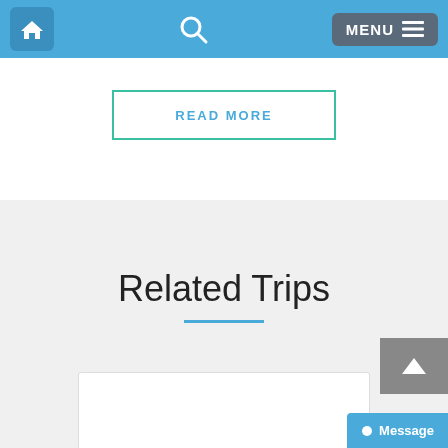Navigation bar with home icon, search icon, and MENU button
READ MORE
Related Trips
[Figure (screenshot): White card placeholder for a related trip item]
Message